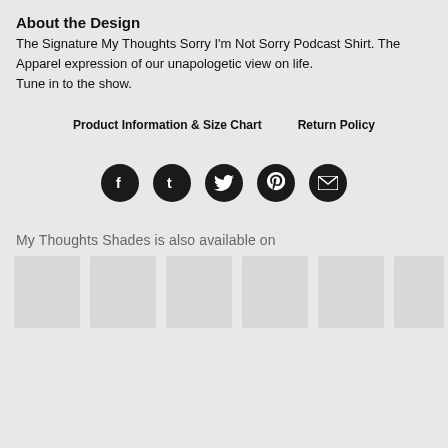About the Design
The Signature My Thoughts Sorry I'm Not Sorry Podcast Shirt. The Apparel expression of our unapologetic view on life.
Tune in to the show.
Product Information & Size Chart	Return Policy
[Figure (other): Row of 5 social media icon circles (Facebook, Tumblr, Twitter, Pinterest, Email) in dark/black on grey background]
My Thoughts Shades is also available on
[Figure (other): Row of 6 placeholder thumbnail images (light grey boxes)]